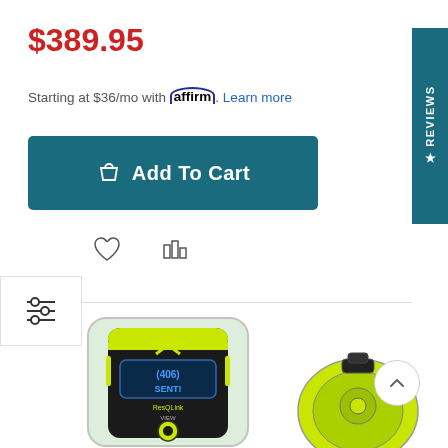$389.95
Starting at $36/mo with affirm. Learn more
Add To Cart
[Figure (screenshot): E-commerce product page showing price $389.95, Affirm financing option, Add To Cart button, wishlist and compare icons, filter icon on left, Reviews tab on right, and ACR ResQLink View PLB device product photo]
[Figure (photo): ACR ResQLink View 406 PLB device in transparent case showing yellow/black housing with (406 SENT) display and power button, plus a yellow circular companion device]